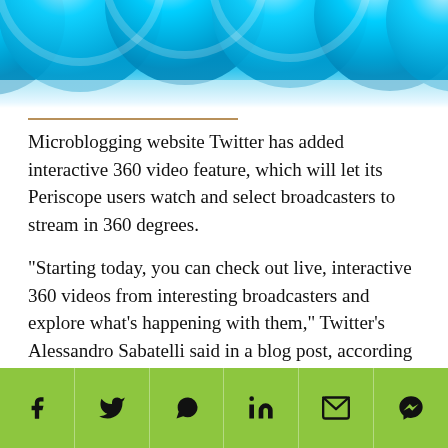[Figure (illustration): Blue banner with large bubble/circle shapes at the top of the page, styled in light blue gradient colors]
Microblogging website Twitter has added interactive 360 video feature, which will let its Periscope users watch and select broadcasters to stream in 360 degrees.
"Starting today, you can check out live, interactive 360 videos from interesting broadcasters and explore what's happening with them," Twitter's Alessandro Sabatelli said in a blog post, according to Agence France-Presse. It was also announced that though anyone on Twitter's live Periscope application can watch 360-degree videos, only a few partners are able to stream 360 via the
[Figure (infographic): Green footer bar with six social media sharing icons: Facebook (f), Twitter (bird), WhatsApp, LinkedIn (in), Email (envelope), Messenger (speech bubble with lightning bolt)]